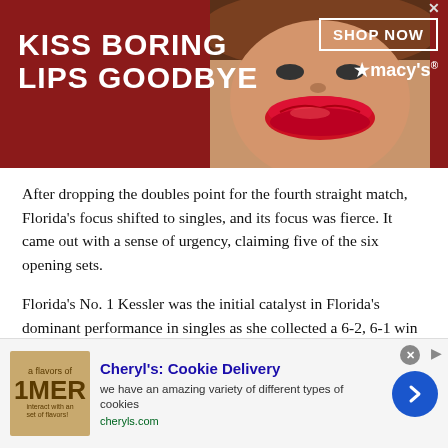[Figure (photo): Macy's advertisement banner with dark red background. Left side reads 'KISS BORING LIPS GOODBYE' in large white bold text. Center shows a woman's face focusing on red lips. Right side shows 'SHOP NOW' button in white box and Macy's star logo in white.]
After dropping the doubles point for the fourth straight match, Florida's focus shifted to singles, and its focus was fierce. It came out with a sense of urgency, claiming five of the six opening sets.
Florida's No. 1 Kessler was the initial catalyst in Florida's dominant performance in singles as she collected a 6-2, 6-1 win over Amelie Boy. Following Kessler's lead, Zein soon after registered a 6-2, 6-2 victory over Grace Schumacher.
From court four, Dahlstrom made it 3-1 in favor of Florida with a 6-4, 6-1 victory over Evelyne Tiron. The freshman from Sweden added her
[Figure (photo): Advertisement for Cheryl's Cookie Delivery. Shows a flavor of 'IMER' cookie brand image on left, center text reads 'Cheryl's: Cookie Delivery' in blue bold, subtitle 'we have an amazing variety of different types of cookies', URL 'cheryls.com' in green. Blue circular arrow button on right.]